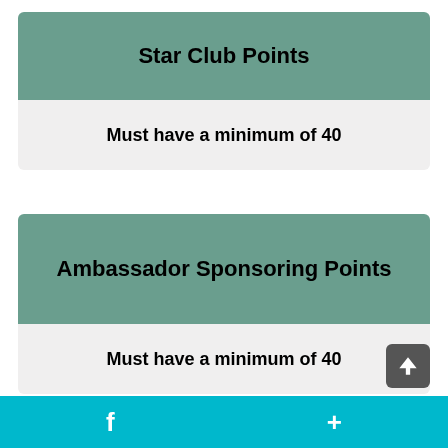Star Club Points
Must have a minimum of 40
Ambassador Sponsoring Points
Must have a minimum of 40
f  +